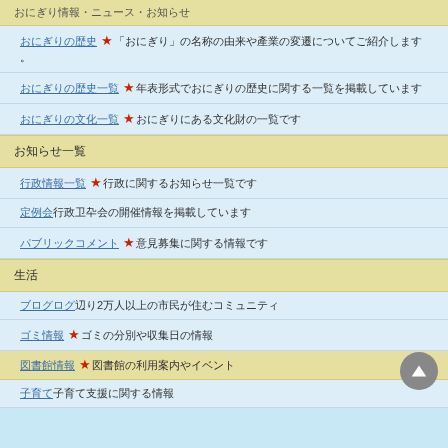[partial top row - section header continuation]
[link] ★ [Japanese text]
[link] ★ [Japanese text]
[link] ★ [Japanese text]
[Japanese section heading]
[link] ★ [Japanese text]
[link] [Japanese text]
[link] ★ [Japanese text]
[Japanese section heading]
[link] 2 [Japanese text]
[link] ★ [Japanese text]
[link] ★ [Japanese text]
[link] [Japanese text]